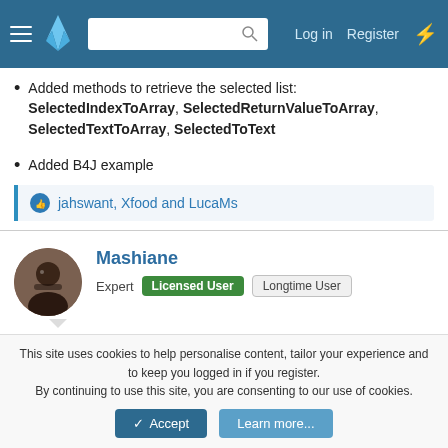GitLab forum header with hamburger menu, logo, search bar, Log in, Register, and bolt icon
Added methods to retrieve the selected list: SelectedIndexToArray, SelectedReturnValueToArray, SelectedTextToArray, SelectedToText
Added B4J example
jahswant, Xfood and LucaMs
Mashiane
Expert   Licensed User   Longtime User
Nov 21, 2021
#7
Awesome.
This site uses cookies to help personalise content, tailor your experience and to keep you logged in if you register.
By continuing to use this site, you are consenting to our use of cookies.